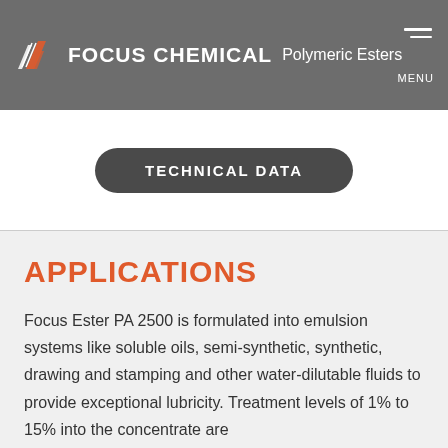FOCUS CHEMICAL Polymeric Esters
TECHNICAL DATA
APPLICATIONS
Focus Ester PA 2500 is formulated into emulsion systems like soluble oils, semi-synthetic, synthetic, drawing and stamping and other water-dilutable fluids to provide exceptional lubricity. Treatment levels of 1% to 15% into the concentrate are